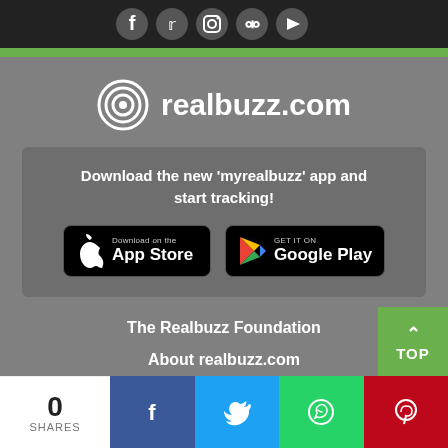[Figure (illustration): Social media icons (Facebook, Twitter, Instagram, Pinterest, YouTube) on dark header bar]
[Figure (logo): Realbuzz.com logo with concentric circles icon and white text on grey background]
Download the new 'myrealbuzz' app and start tracking!
[Figure (illustration): App Store and Google Play download buttons]
The Realbuzz Foundation
About realbuzz.com
[Figure (illustration): TOP button (green, with up arrow)]
0 SHARES — Facebook, Twitter, WhatsApp, Pinterest share buttons